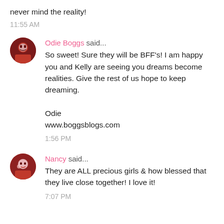never mind the reality!
11:55 AM
Odie Boggs said...
So sweet! Sure they will be BFF's! I am happy you and Kelly are seeing you dreams become realities. Give the rest of us hope to keep dreaming.

Odie
www.boggsblogs.com
1:56 PM
Nancy said...
They are ALL precious girls & how blessed that they live close together! I love it!
7:07 PM